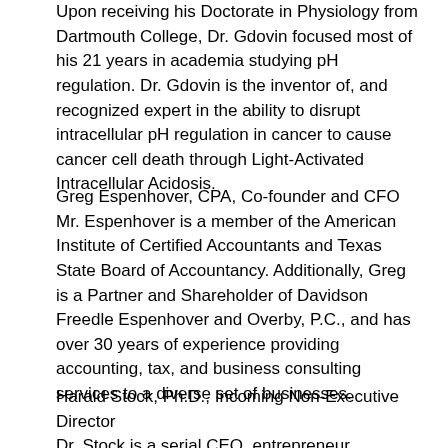Upon receiving his Doctorate in Physiology from Dartmouth College, Dr. Gdovin focused most of his 21 years in academia studying pH regulation. Dr. Gdovin is the inventor of, and recognized expert in the ability to disrupt intracellular pH regulation in cancer to cause cancer cell death through Light-Activated Intracellular Acidosis.
Greg Espenhover, CPA, Co-founder and CFO Mr. Espenhover is a member of the American Institute of Certified Accountants and Texas State Board of Accountancy. Additionally, Greg is a Partner and Shareholder of Davidson Freedle Espenhover and Overby, P.C., and has over 30 years of experience providing accounting, tax, and business consulting services to a diverse set of businesses.
Harald Stock, Ph.D., Incoming Non-Executive Director Dr. Stock is a serial CEO, entrepreneur, investor, and